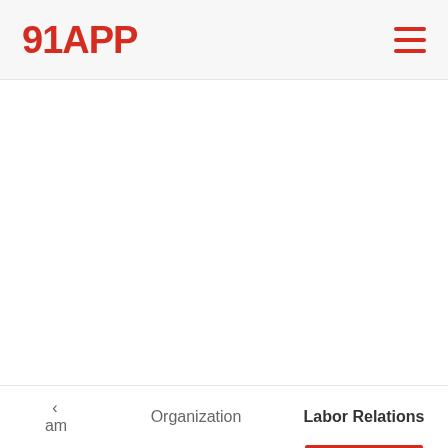91APP
< am   Organization   Labor Relations